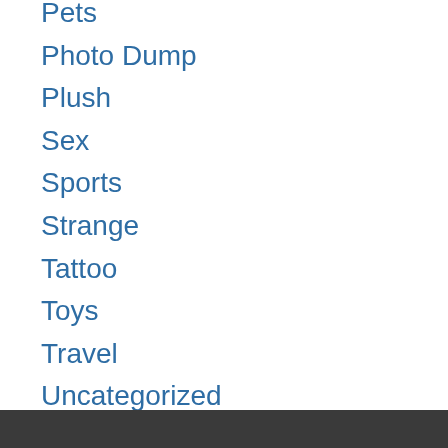Pets
Photo Dump
Plush
Sex
Sports
Strange
Tattoo
Toys
Travel
Uncategorized
Vehicle
Videos
Wedding